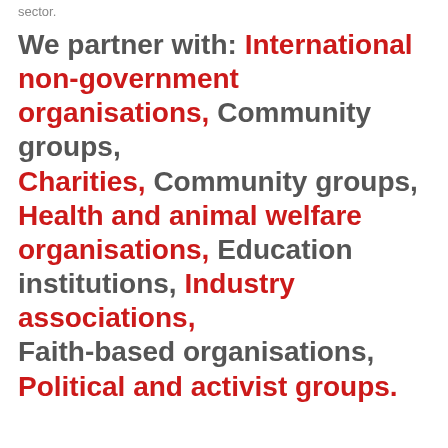sector.
We partner with: International non-government organisations, Charities, Community groups, Health and animal welfare organisations, Education institutions, Industry associations, Faith-based organisations, Political and activist groups.